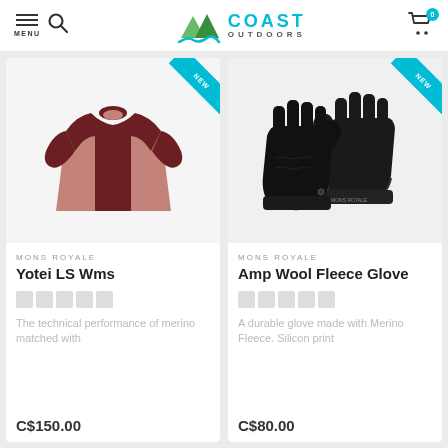Coast Outdoors — MENU, Search, Cart (0)
[Figure (photo): Mons Royale Yotei LS Wms long-sleeve shirt in dark red and mauve pink]
MONS ROYALE
Yotei LS Wms
The technical performance of merino matched with
C$150.00
[Figure (photo): Mons Royale Amp Wool Fleece Glove in black]
MONS ROYALE
Amp Wool Fleece Glove
A durable glove made with Merino Fleece. Silicon print
C$80.00